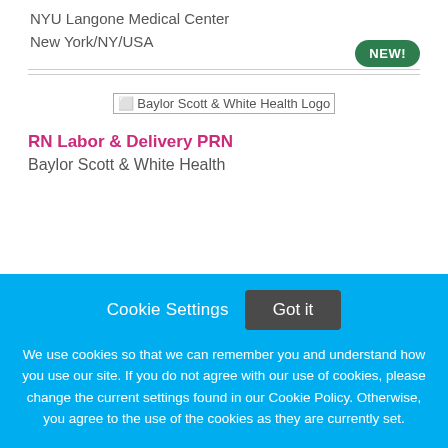NYU Langone Medical Center
New York/NY/USA
[Figure (logo): Baylor Scott & White Health Logo]
RN Labor & Delivery PRN
Baylor Scott & White Health
Cookie Settings  Got it
We use cookies so that we can remember you and understand how you use our site. If you do not agree with our use of cookies, please change the current settings found in our Cookie Policy. Otherwise, you agree to the use of the cookies as they are currently set.